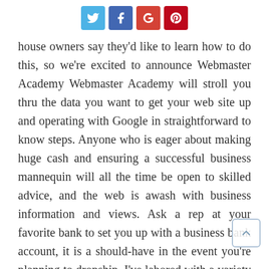[Figure (other): Social media share buttons: Twitter (blue), Facebook (dark blue), Google+ (red), Pinterest (dark red)]
house owners say they'd like to learn how to do this, so we're excited to announce Webmaster Academy Webmaster Academy will stroll you thru the data you want to get your web site up and operating with Google in straightforward to know steps. Anyone who is eager about making huge cash and ensuring a successful business mannequin will all the time be open to skilled advice, and the web is awash with business information and views. Ask a rep at your favorite bank to set you up with a business bank account, it is a should-have in the event you're planning to dropship. I've labored with a variety of UK engineering companies that had been going out of business because of their clients offshoring their manufacturing.